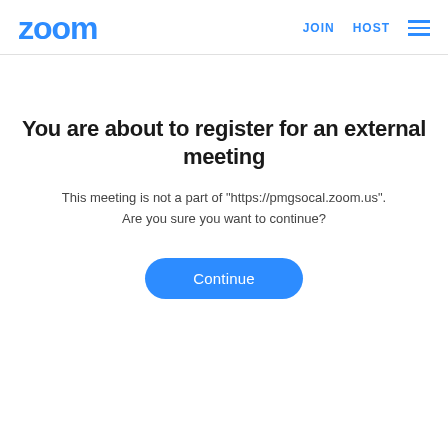zoom   JOIN   HOST
You are about to register for an external meeting
This meeting is not a part of "https://pmgsocal.zoom.us".
Are you sure you want to continue?
Continue